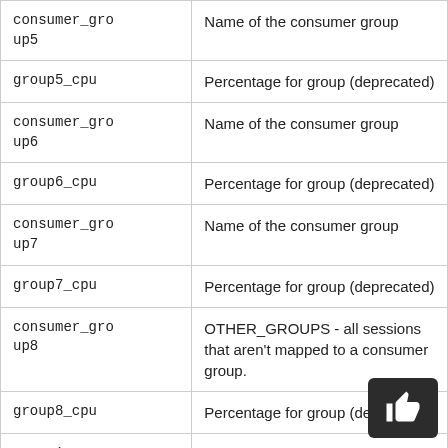| Parameter | Description |
| --- | --- |
| consumer_group5 | Name of the consumer group |
| group5_cpu | Percentage for group (deprecated) |
| consumer_group6 | Name of the consumer group |
| group6_cpu | Percentage for group (deprecated) |
| consumer_group7 | Name of the consumer group |
| group7_cpu | Percentage for group (deprecated) |
| consumer_group8 | OTHER_GROUPS - all sessions that aren't mapped to a consumer group. |
| group8_cpu | Percentage for group (deprecated) |
| group1_percent | Percentage of resources allocated for this consumer group |
| group2_perce... | Percentage of resources allocated for this... |